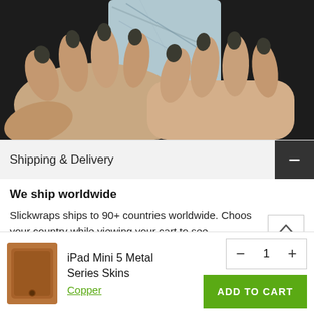[Figure (photo): Close-up photo of hands holding a marble-patterned phone case/skin, with dark painted nails visible.]
Shipping & Delivery
We ship worldwide
Slickwraps ships to 90+ countries worldwide. Choose your country while viewing your cart to see
iPad Mini 5 Metal Series Skins
Copper
1
ADD TO CART